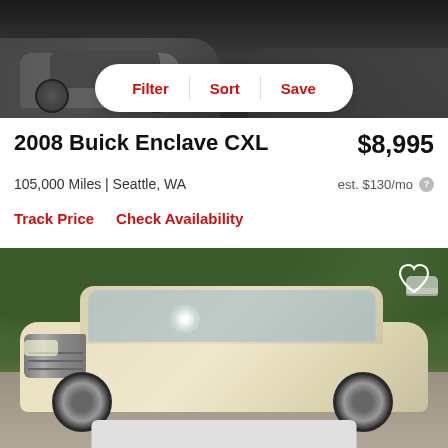[Figure (screenshot): Top banner showing a dark car image background with Filter, Sort, Save button bar overlaid]
2008 Buick Enclave CXL
$8,995
105,000 Miles | Seattle, WA
est. $130/mo
Track Price   Check Availability
[Figure (photo): Photo of a white/champagne 2008 Buick Enclave CXL SUV parked on a driveway with green trees in background. Heart/save icon in top right corner.]